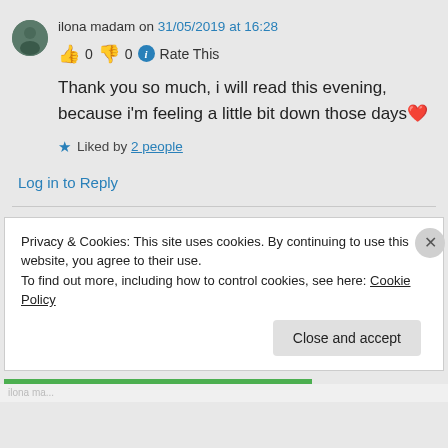ilona madam on 31/05/2019 at 16:28
👍 0 👎 0 ℹ Rate This
Thank you so much, i will read this evening, because i'm feeling a little bit down those days ❤
★ Liked by 2 people
Log in to Reply
Privacy & Cookies: This site uses cookies. By continuing to use this website, you agree to their use.
To find out more, including how to control cookies, see here: Cookie Policy
Close and accept